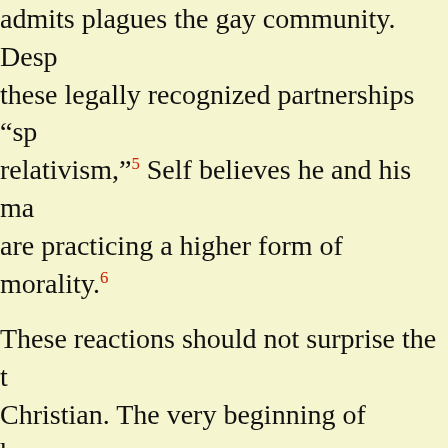admits plagues the gay community. Despite these legally recognized partnerships "sp relativism,"5 Self believes he and his mal are practicing a higher form of morality.6
These reactions should not surprise the Christian. The very beginning of human s demonstrates that at its heart to be a sin reject the truth and be enslaved to a lie. sinner is, in various ways, to "call evil go evil."7 Wisdom's saying that "all who hate death,"8 underscores this theme and dem the link between this reversed moral com idolatry. To withdraw one's affections fro Creator is to betroth oneself to evil and t back upon that which one should know, b nature and common grace, really to be tr result, to use Paul's words, is going thro a "seared conscience."9 It is not that ab lobbyists or gay-rights activists are lovel godless. On the contrary, they love muc much. But they love and worship wrong t terrible things. How sad. It is a thought deeply grieve every disciple's heart.